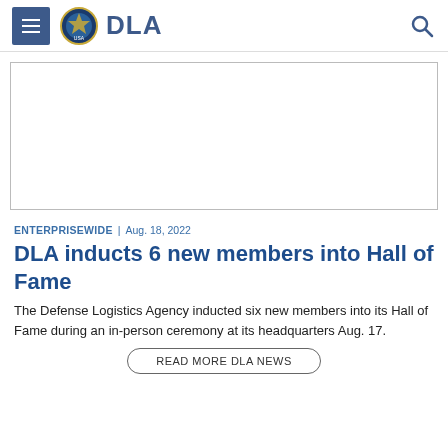DLA
[Figure (photo): Placeholder image area with border, no visible content]
ENTERPRISEWIDE | Aug. 18, 2022
DLA inducts 6 new members into Hall of Fame
The Defense Logistics Agency inducted six new members into its Hall of Fame during an in-person ceremony at its headquarters Aug. 17.
READ MORE DLA NEWS